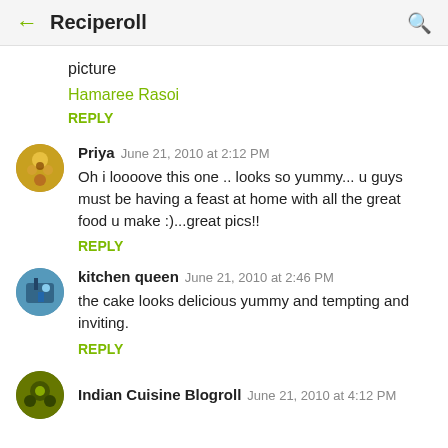Reciperoll
picture
Hamaree Rasoi
REPLY
Priya   June 21, 2010 at 2:12 PM
Oh i loooove this one .. looks so yummy... u guys must be having a feast at home with all the great food u make :)...great pics!!
REPLY
kitchen queen   June 21, 2010 at 2:46 PM
the cake looks delicious yummy and tempting and inviting.
REPLY
Indian Cuisine Blogroll   June 21, 2010 at 4:12 PM